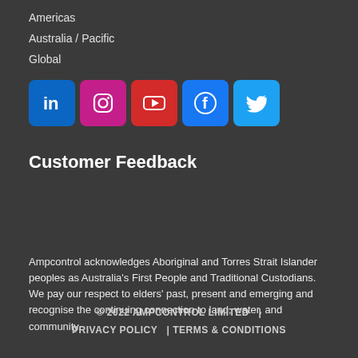Americas
Australia / Pacific
Global
[Figure (other): Social media icons: LinkedIn, Instagram, YouTube, Facebook, Twitter]
Customer Feedback
Ampcontrol acknowledges Aboriginal and Torres Strait Islander peoples as Australia's First People and Traditional Custodians. We pay our respect to elders' past, present and emerging and recognise the continuing connection to land, water, and community.
© 2022 AMPCONTROL LIMITED  |  PRIVACY POLICY  | TERMS & CONDITIONS